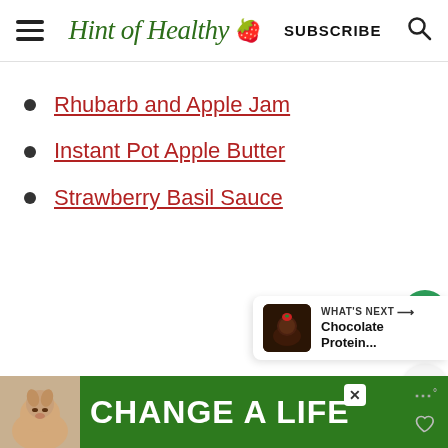Hint of Healthy — SUBSCRIBE
Rhubarb and Apple Jam
Instant Pot Apple Butter
Strawberry Basil Sauce
[Figure (screenshot): What's Next panel showing Chocolate Protein... with a thumbnail of a chocolate dessert topped with a strawberry]
[Figure (infographic): Advertisement banner: Change a Life with dog photo on green background]